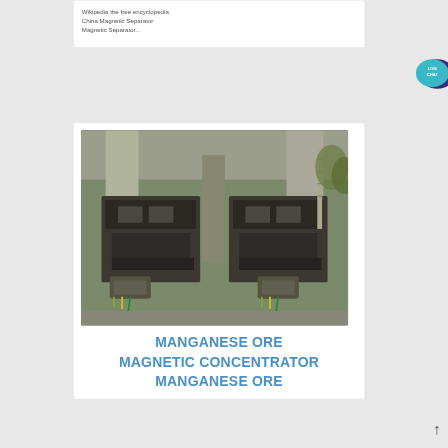Wikipedia the free encyclopedia
China Magnetic Separator
Magnetic Separator...
[Figure (other): Live Chat button - teal/purple speech bubble icon with text LIVE CHAT]
[Figure (photo): Industrial manganese ore magnetic concentrator machines installed outdoors at a processing facility, showing two large dark-colored mechanical units with motors at base, connected by structural framework, with concrete supports and natural landscape visible in background.]
MANGANESE ORE MAGNETIC CONCENTRATOR MANGANESE ORE
↑